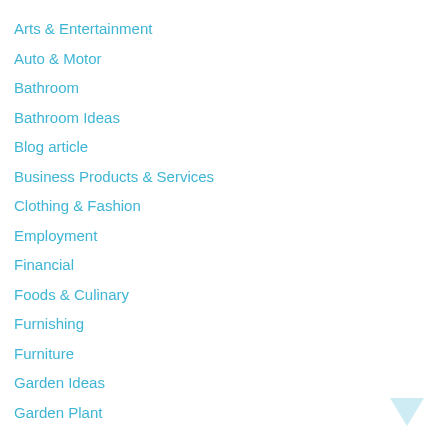Arts & Entertainment
Auto & Motor
Bathroom
Bathroom Ideas
Blog article
Business Products & Services
Clothing & Fashion
Employment
Financial
Foods & Culinary
Furnishing
Furniture
Garden Ideas
Garden Plant